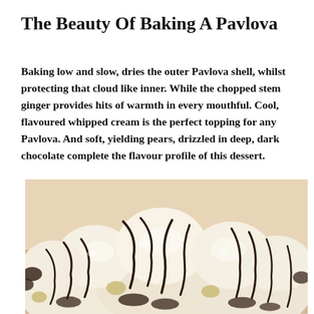The Beauty Of Baking A Pavlova
Baking low and slow, dries the outer Pavlova shell, whilst protecting that cloud like inner. While the chopped stem ginger provides hits of warmth in every mouthful. Cool, flavoured whipped cream is the perfect topping for any Pavlova. And soft, yielding pears, drizzled in deep, dark chocolate complete the flavour profile of this dessert.
[Figure (photo): A pavlova dessert topped with whipped cream and pears drizzled with dark chocolate sauce, photographed from above on a warm-toned surface.]